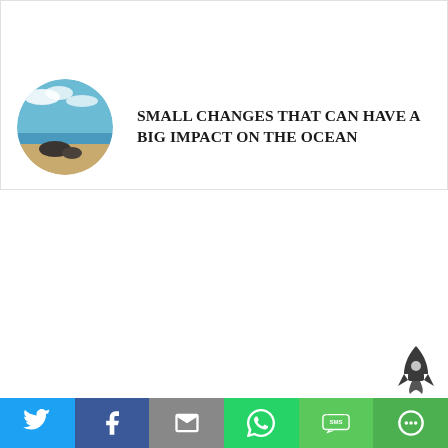[Figure (photo): Circular cropped photo of a beach/ocean scene with sand and blue sky]
SMALL CHANGES THAT CAN HAVE A BIG IMPACT ON THE OCEAN
[Figure (illustration): Rocket icon in dark gray]
[Figure (infographic): Social share bar with Twitter, Facebook, Email, WhatsApp, SMS, and More buttons]